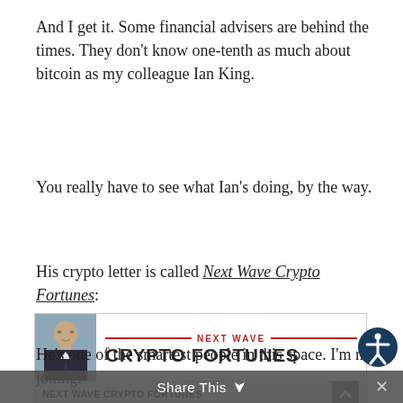And I get it. Some financial advisers are behind the times. They don’t know one-tenth as much about bitcoin as my colleague Ian King.
You really have to see what Ian’s doing, by the way.
His crypto letter is called Next Wave Crypto Fortunes:
[Figure (screenshot): Screenshot of the Next Wave Crypto Fortunes newsletter landing page, showing a headshot of Ian King on the left, the NEXT WAVE CRYPTO FORTUNES logo and brand in red and dark grey, a light grey sub-header bar reading NEXT WAVE CRYPTO FORTUNES with a scroll-to-top button, and welcome text reading: Welcome to Next Wave Crypto Fortunes! We are in the perfect time to invest in cryptocurrencies.]
He’s one of the smartest people in this space. I’m not joking.
Share This